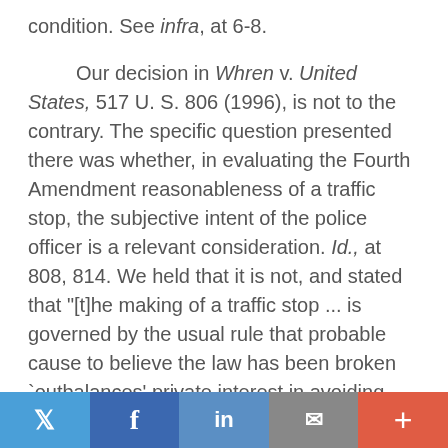condition. See infra, at 6-8.
Our decision in Whren v. United States, 517 U. S. 806 (1996), is not to the contrary. The specific question presented there was whether, in evaluating the Fourth Amendment reasonableness of a traffic stop, the subjective intent of the police officer is a relevant consideration. Id., at 808, 814. We held that it is not, and stated that "[t]he making of a traffic stop ... is governed by the usual rule that probable cause to believe the law has been broken `outbalances' private interest in avoiding police contact." Id., at 818.
We of course did not have occasion in Whren to consider the constitutional preconditions for warrantless arrests for fine-only offenses. Nor should our words be taken beyond their context. There are significant qualitative differences between a traffic stop and a full custodial arrest. While both